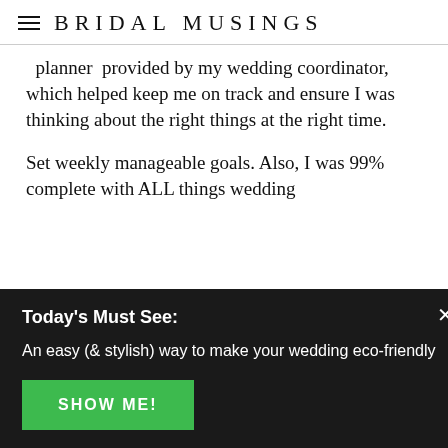BRIDAL MUSINGS
planner provided by my wedding coordinator, which helped keep me on track and ensure I was thinking about the right things at the right time.
Set weekly manageable goals. Also, I was 99% complete with ALL things wedding
Today's Must See:
An easy (& stylish) way to make your wedding eco-friendly
SHOW ME!